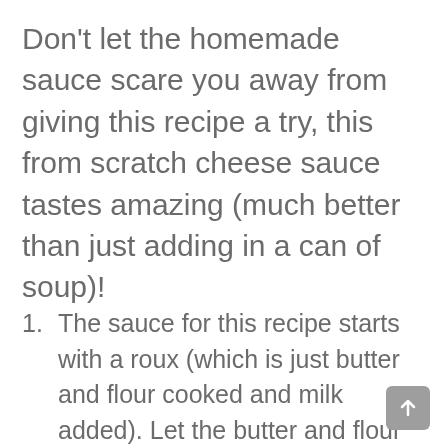Don't let the homemade sauce scare you away from giving this recipe a try, this from scratch cheese sauce tastes amazing (much better than just adding in a can of soup)!
The sauce for this recipe starts with a roux (which is just butter and flour cooked and milk added). Let the butter and flour